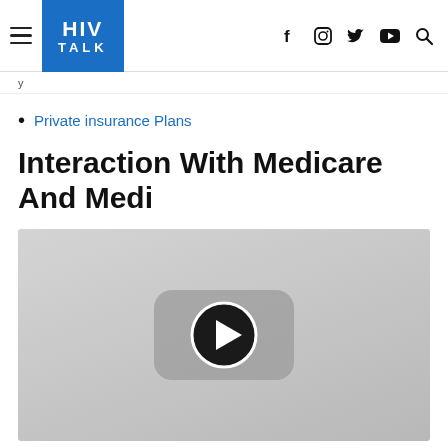HIV TALK
Private insurance Plans
Interaction With Medicare And Medi
[Figure (screenshot): Video thumbnail with YouTube-style play button icon on gray background]